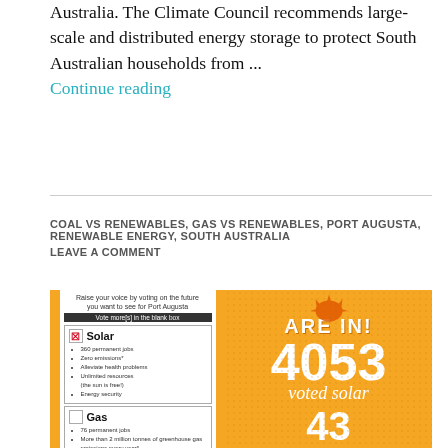Australia. The Climate Council recommends large-scale and distributed energy storage to protect South Australian households from ...
Continue reading
COAL VS RENEWABLES, GAS VS RENEWABLES, PORT AUGUSTA, RENEWABLE ENERGY, SOUTH AUSTRALIA
LEAVE A COMMENT
[Figure (infographic): Infographic showing a ballot paper with Solar checked (with X) and Gas unchecked, on an orange background. The right panel shows '4053 voted solar' and '43' in large white text on orange background with sun decoration and dot pattern.]